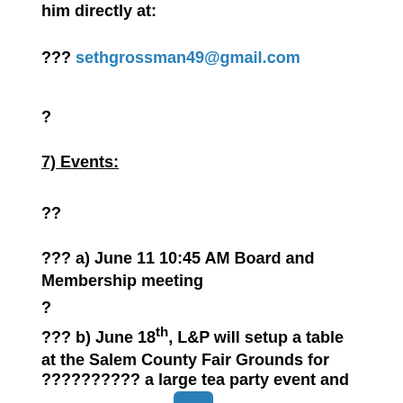him directly at:
??? sethgrossman49@gmail.com
?
7) Events:
??
??? a) June 11 10:45 AM Board and Membership meeting
?
??? b) June 18th, L&P will setup a table at the Salem County Fair Grounds for
?????????? a large tea party event and need volunteers man the table. Contact